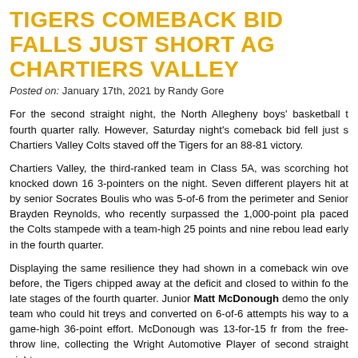TIGERS COMEBACK BID FALLS JUST SHORT AGAINST CHARTIERS VALLEY
Posted on: January 17th, 2021 by Randy Gore
For the second straight night, the North Allegheny boys' basketball team mounted a fourth quarter rally. However, Saturday night's comeback bid fell just short as the Chartiers Valley Colts staved off the Tigers for an 88-81 victory.
Chartiers Valley, the third-ranked team in Class 5A, was scorching hot from outside and knocked down 16 3-pointers on the night. Seven different players hit at least one trey, led by senior Socrates Boulis who was 5-of-6 from the perimeter and scored 23 points. Senior Brayden Reynolds, who recently surpassed the 1,000-point plateau in his career, paced the Colts stampede with a team-high 25 points and nine rebounds and held a big lead early in the fourth quarter.
Displaying the same resilience they had shown in a comeback win over Pine-Richland the night before, the Tigers chipped away at the deficit and closed to within four points in the late stages of the fourth quarter. Junior Matt McDonough demonstrated that NA was not the only team who could hit treys and converted on 6-of-6 attempts from downtown on his way to a game-high 36-point effort. McDonough was 13-for-15 from the free-throw line, collecting the Wright Automotive Player of the Game award for the second straight night.